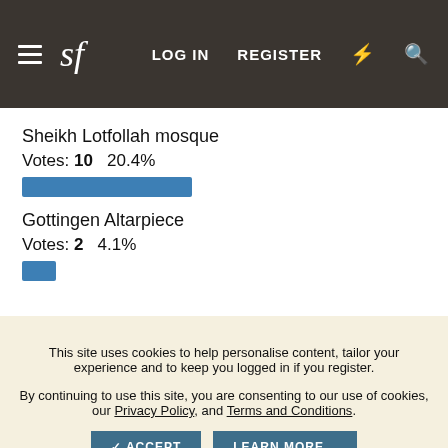sf   LOG IN   REGISTER
Sheikh Lotfollah mosque
Votes: 10   20.4%
Gottingen Altarpiece
Votes: 2   4.1%
This site uses cookies to help personalise content, tailor your experience and to keep you logged in if you register.
By continuing to use this site, you are consenting to our use of cookies, our Privacy Policy, and Terms and Conditions.
✓ ACCEPT   LEARN MORE...
» FORUM SPONSORS
Allen Edmonds   American Trench   AMIDÉ HADELIN